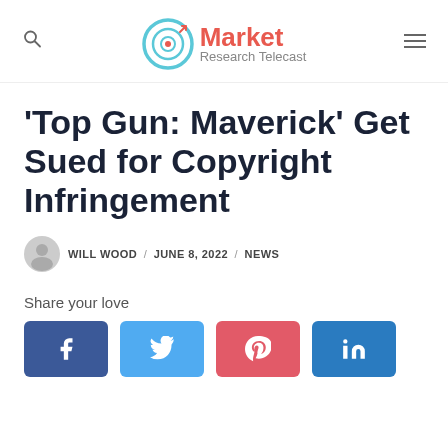Market Research Telecast
'Top Gun: Maverick' Get Sued for Copyright Infringement
WILL WOOD / JUNE 8, 2022 / NEWS
Share your love
[Figure (infographic): Social share buttons: Facebook, Twitter, Pinterest, LinkedIn]